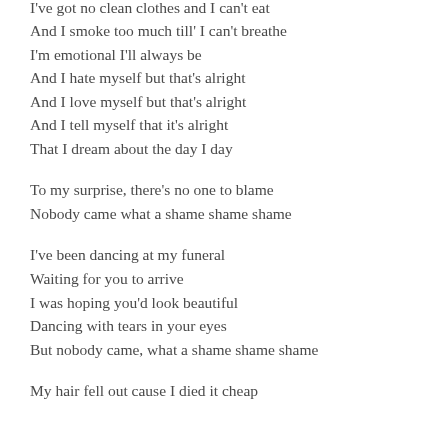I can't leave my bed, but I can't sleep
I've got no clean clothes and I can't eat
And I smoke too much till' I can't breathe
I'm emotional I'll always be
And I hate myself but that's alright
And I love myself but that's alright
And I tell myself that it's alright
That I dream about the day I day

To my surprise, there's no one to blame
Nobody came what a shame shame shame

I've been dancing at my funeral
Waiting for you to arrive
I was hoping you'd look beautiful
Dancing with tears in your eyes
But nobody came, what a shame shame shame

My hair fell out cause I died it cheap